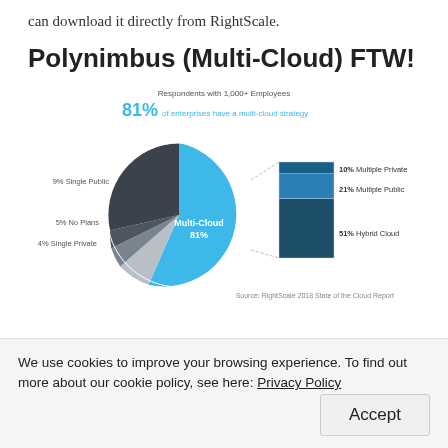can download it directly from RightScale.
Polynimbus (Multi-Cloud) FTW!
[Figure (pie-chart): Respondents with 1,000+ Employees — 81% of enterprises have a multi-cloud strategy]
Source: RightScale 2018 State of the Cloud Report
We use cookies to improve your browsing experience. To find out more about our cookie policy, see here: Privacy Policy